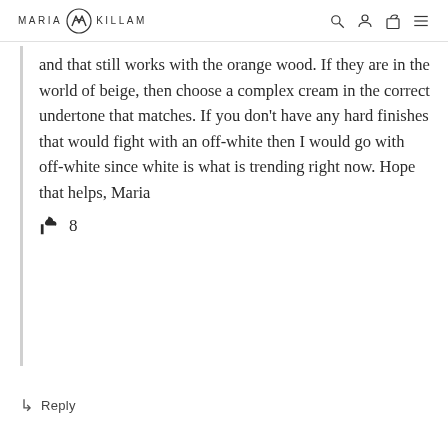MARIA KILLAM
and that still works with the orange wood. If they are in the world of beige, then choose a complex cream in the correct undertone that matches. If you don't have any hard finishes that would fight with an off-white then I would go with off-white since white is what is trending right now. Hope that helps, Maria
👍 8
↳ Reply